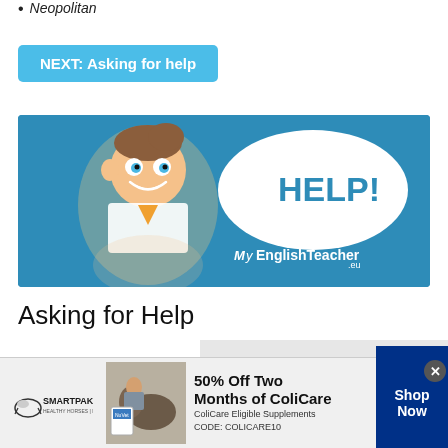Neopolitan
NEXT: Asking for help
[Figure (illustration): MyEnglishTeacher.eu advertisement image showing a cartoon man scratching his head with a speech bubble saying HELP! and the MyEnglishTeacher.eu logo below.]
Asking for Help
Catching someone's attention:
[Figure (advertisement): SmartPak equestrian supplement advertisement offering 50% Off Two Months of ColiCare with code COLICARE10, featuring a horse and rider photo.]